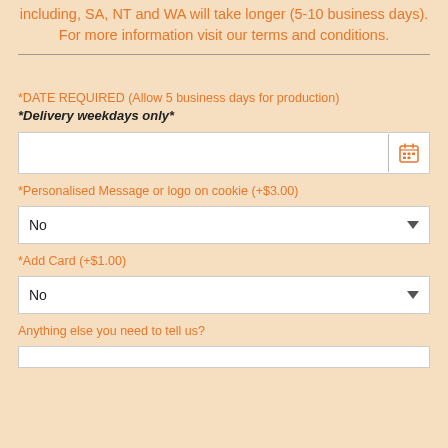including, SA, NT and WA will take longer (5-10 business days). For more information visit our terms and conditions.
*DATE REQUIRED (Allow 5 business days for production)
*Delivery weekdays only*
*Personalised Message or logo on cookie (+$3.00)
No
*Add Card (+$1.00)
No
Anything else you need to tell us?